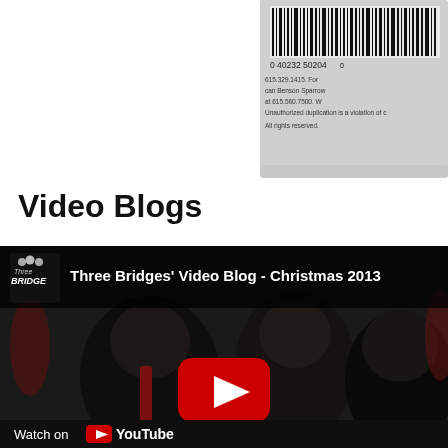[Figure (photo): Partial view of a CD or product barcode label on a gray/metallic backing, positioned in upper right corner. Text includes phone number 615.329.1415, references to Benson/Sparrow, '615.560.7500', 'Unauthorized duplication is a violation of...' and barcode number 0 40232 50204.]
Video Blogs
[Figure (screenshot): Embedded YouTube video thumbnail showing Three Bridges' Video Blog - Christmas 2013. Dark image of three men in suits with Christmas decorations in background. YouTube play button overlay in center. 'Watch on YouTube' bar at bottom. Channel logo with 'Three Bridges' text in top left corner.]